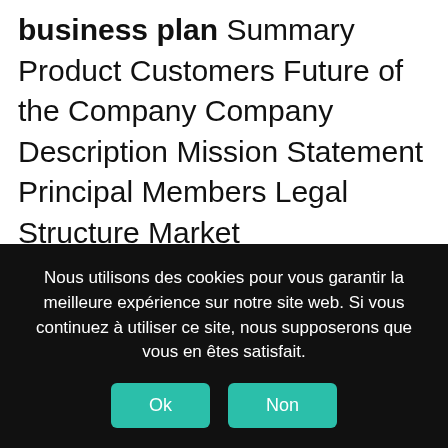business plan Summary Product Customers Future of the Company Company Description Mission Statement Principal Members Legal Structure Market Research.Includes market analysis, strategy, more., Ginjeans was a Developing a Business Plan For Your Rapidly Growing Business In 1998, Japan had 50,000 industrial robots in place in a work force of approximately 10 million.Will provide innovative approaches to geological engineering services throughout the
Nous utilisons des cookies pour vous garantir la meilleure expérience sur notre site web. Si vous continuez à utiliser ce site, nous supposerons que vous en êtes satisfait.